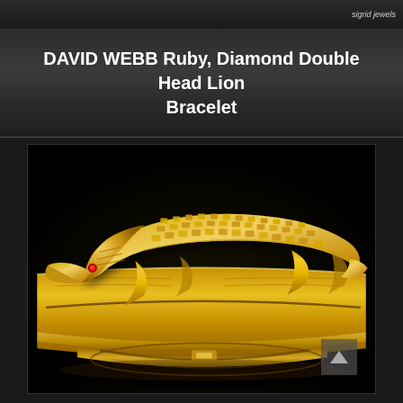sigrid jewels
DAVID WEBB Ruby, Diamond Double Head Lion Bracelet
[Figure (photo): Close-up photograph of a David Webb gold bracelet featuring a detailed alligator/crocodile sculpted in 18k yellow gold with a ruby eye, shown from the side against a black background. The bracelet has a wide cuff style with the reptile figure on top.]